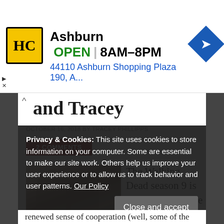[Figure (other): Advertisement banner for HC store in Ashburn, showing yellow/black logo, store name, OPEN status, hours 8AM-8PM, address 44110 Ashburn Shopping Plaza 190 A., and blue navigation arrow icon]
and Tracey
OCTOBER 16, 2018 BY TRACEY PHILLIPPS
2 COMMENTS
[Figure (photo): Photo of a woman and man outdoors, appears to be from The Walking Dead]
The Walking Dead season 9 is upon us! Tameche and
Privacy & Cookies: This site uses cookies to store information on your computer. Some are essential to make our site work. Others help us improve your user experience or to allow us to track behavior and user patterns. Our Policy
Close and accept
renewed sense of cooperation (well, some of the